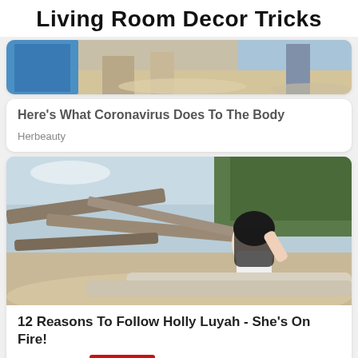Living Room Decor Tricks
[Figure (photo): Partial photo of beach scene with blue swimsuit visible at top, cropped]
Here's What Coronavirus Does To The Body
Herbeauty
[Figure (photo): Woman with dark hair in white swimsuit posing against driftwood on a beach]
12 Reasons To Follow Holly Luyah - She's On Fire!
Herbeauty
CLOSE